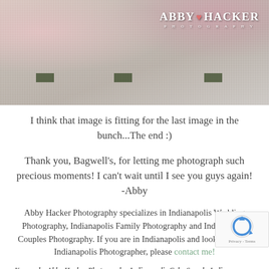[Figure (photo): Close-up photo of a soft white towel/blanket with pink/magenta pom-pom decorations, with the Abby Hacker Photography logo watermark in the upper right corner]
I think that image is fitting for the last image in the bunch...The end :)
Thank you, Bagwell's, for letting me photograph such precious moments! I can't wait until I see you guys again!  -Abby
Abby Hacker Photography specializes in Indianapolis Wedding Photography, Indianapolis Family Photography and Indianapolis Couples Photography. If you are in Indianapolis and looking for an Indianapolis Photographer, please contact me!
Keywords: Abby Hacker Photography, Indianapolis Cake Smash, Indianapolis Family Photography, Indianapolis First Birthday, Indianapolis Photography, Northwest Indiana Cake Smash, Northwest Indiana Family Photographer,